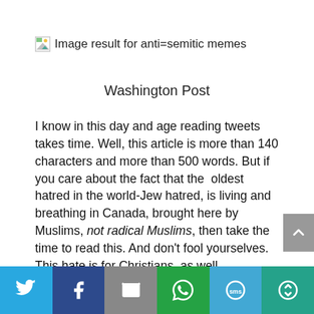[Figure (other): Broken image placeholder icon with text: Image result for anti=semitic memes]
Washington Post
I know in this day and age reading tweets takes time. Well, this article is more than 140 characters and more than 500 words. But if you care about the fact that the  oldest hatred in the world-Jew hatred, is living and breathing in Canada, brought here by Muslims, not radical Muslims, then take the time to read this. And don't fool yourselves. This hate is for Christians, as well.
[Figure (infographic): Social share bar with Twitter, Facebook, Email, WhatsApp, SMS, and More buttons]